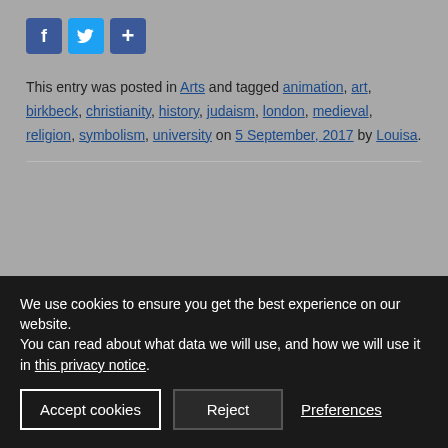[Figure (other): Social share icons: Facebook (f), Twitter (bird), and a plus/share button]
This entry was posted in Arts and tagged animation, art, birkbeck, christianity, history, judaism, london, medieval, religion, symbolism, university on 5 September, 2017 by Louisa.
We use cookies to ensure you get the best experience on our website.
You can read about what data we will use, and how we will use it in this privacy notice.
Accept cookies   Reject   Preferences